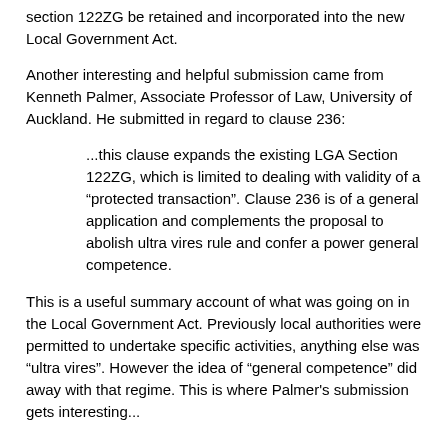section 122ZG be retained and incorporated into the new Local Government Act.
Another interesting and helpful submission came from Kenneth Palmer, Associate Professor of Law, University of Auckland. He submitted in regard to clause 236:
...this clause expands the existing LGA Section 122ZG, which is limited to dealing with validity of a "protected transaction". Clause 236 is of a general application and complements the proposal to abolish ultra vires rule and confer a power general competence.
This is a useful summary account of what was going on in the Local Government Act. Previously local authorities were permitted to undertake specific activities, anything else was "ultra vires". However the idea of "general competence" did away with that regime. This is where Palmer's submission gets interesting...